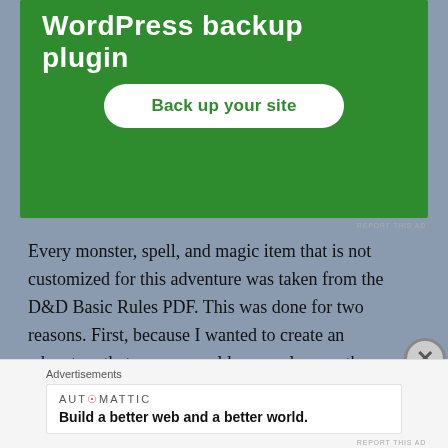[Figure (screenshot): Green advertisement banner for a WordPress backup plugin with a 'Back up your site' button]
REPORT THIS AD
Every monster, spell, and magic item that is not customized for this adventure was taken from the D&D Basic Rules PDF. This was done for two reasons. First, because I wanted to create an adventure that anyone could run, so long as they have access to their local library's internet connection and can download the Basic Rules.  Except for the goliath, which can be located in the free Elemental Evil Player's Companion.
Advertisements
[Figure (screenshot): Automattic advertisement: Build a better web and a better world.]
REPORT THIS AD